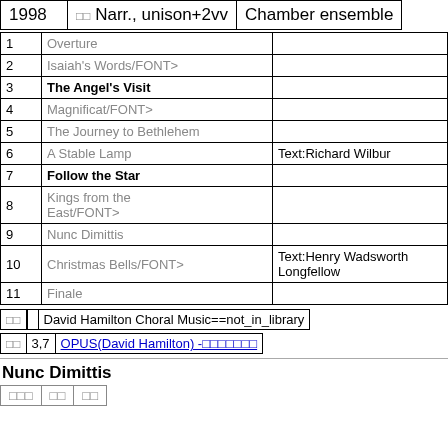| Year | Voicing | Ensemble |
| --- | --- | --- |
| 1998 | □□ Narr., unison+2vv | Chamber ensemble |
| # | Title | Notes |
| --- | --- | --- |
| 1 | Overture |  |
| 2 | Isaiah's Words/FONT> |  |
| 3 | The Angel's Visit |  |
| 4 | Magnificat/FONT> |  |
| 5 | The Journey to Bethlehem |  |
| 6 | A Stable Lamp | Text:Richard Wilbur |
| 7 | Follow the Star |  |
| 8 | Kings from the East/FONT> |  |
| 9 | Nunc Dimittis |  |
| 10 | Christmas Bells/FONT> | Text:Henry Wadsworth Longfellow |
| 11 | Finale |  |
| □□ | David Hamilton Choral Music==not_in_library |
| □□ | 3,7 | OPUS(David Hamilton) -□□□□□□□ |
Nunc Dimittis
| □□□ | □□ | □□ |